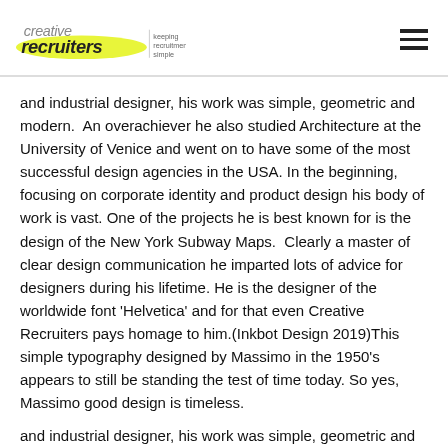creative recruiters — keeping recruitment simple
and industrial designer, his work was simple, geometric and modern.  An overachiever he also studied Architecture at the University of Venice and went on to have some of the most successful design agencies in the USA. In the beginning, focusing on corporate identity and product design his body of work is vast. One of the projects he is best known for is the design of the New York Subway Maps.  Clearly a master of clear design communication he imparted lots of advice for designers during his lifetime. He is the designer of the worldwide font 'Helvetica' and for that even Creative Recruiters pays homage to him.(Inkbot Design 2019)This simple typography designed by Massimo in the 1950's appears to still be standing the test of time today. So yes, Massimo good design is timeless.
and industrial designer, his work was simple, geometric and